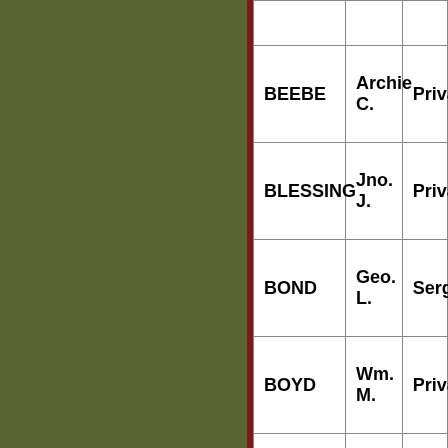| Last Name | First Name | Rank |
| --- | --- | --- |
|  |  |  |
| BEEBE | Archie C. | Priva… |
| BLESSING | Jno. J. | Priva… |
| BOND | Geo. L. | Sergt… |
| BOYD | Wm. M. | Priva… |
| BRADLEY | Herbert H. | Priva… |